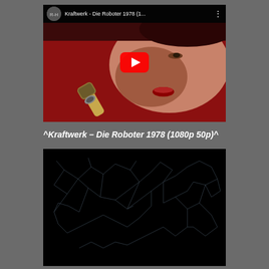[Figure (screenshot): YouTube video thumbnail showing a close-up of a person singing into a microphone with a red background, with a YouTube play button overlay. Video title in top bar: 'Kraftwerk - Die Roboter 1978 (1...']
^Kraftwerk – Die Roboter 1978 (1080p 50p)^
[Figure (network-graph): Network graph on black background showing nodes represented as upward-pointing light blue triangles and downward-pointing red triangles, connected by thin white lines forming a complex geometric network pattern]